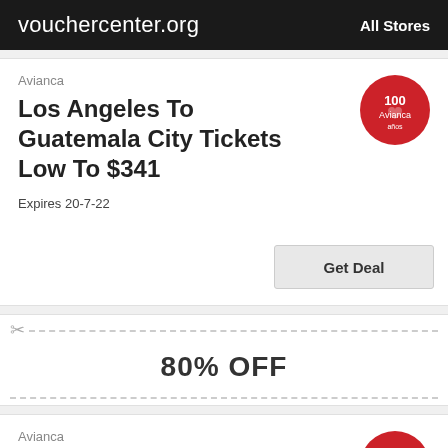vouchercenter.org  All Stores
Avianca
Los Angeles To Guatemala City Tickets Low To $341
Expires 20-7-22
[Figure (logo): Avianca 100 years red circular logo]
80% OFF
Avianca
Receive Up To 80% Off Offers
Expires 5-7-21
[Figure (logo): Avianca 100 years red circular logo]